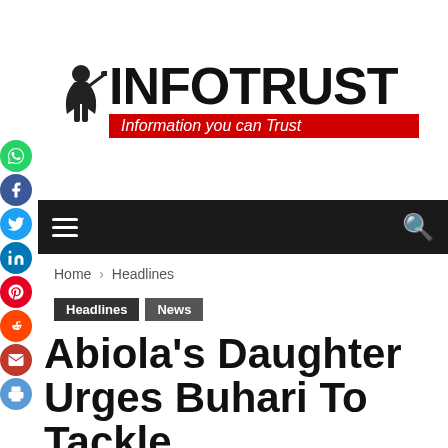[Figure (logo): InfoTrust logo with knight figure and red tagline bar reading 'Information you can Trust']
Home › Headlines
Headlines
News
Abiola's Daughter Urges Buhari To Tackle